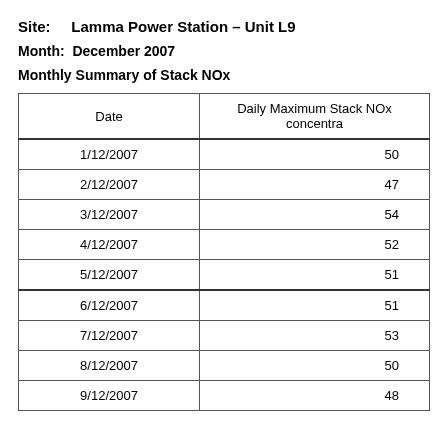Site:    Lamma Power Station – Unit L9
Month:  December 2007
Monthly Summary of Stack NOx
| Date | Daily Maximum Stack NOx concentra… |
| --- | --- |
| 1/12/2007 | 50 |
| 2/12/2007 | 47 |
| 3/12/2007 | 54 |
| 4/12/2007 | 52 |
| 5/12/2007 | 51 |
| 6/12/2007 | 51 |
| 7/12/2007 | 53 |
| 8/12/2007 | 50 |
| 9/12/2007 | 48 |